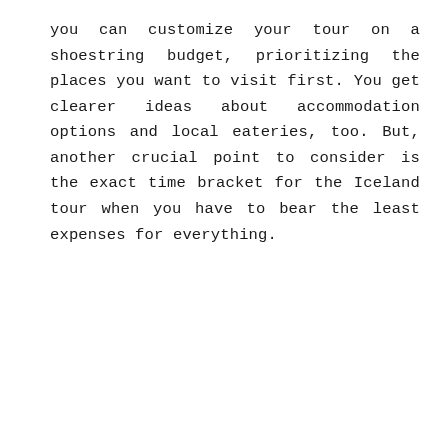you can customize your tour on a shoestring budget, prioritizing the places you want to visit first. You get clearer ideas about accommodation options and local eateries, too. But, another crucial point to consider is the exact time bracket for the Iceland tour when you have to bear the least expenses for everything.